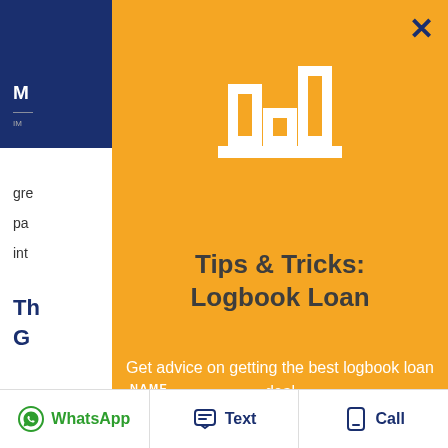[Figure (screenshot): Background webpage partially visible on left side showing a navy blue header with partial logo text 'M...' and body text lines beginning with 'gre', 'pa', 'int', then a bold navy section heading starting with 'Th G', then more text lines 'Ju', 'stu', 'ter', 'de', 'ou']
[Figure (infographic): Orange modal popup overlay with a white bar chart icon logo at top, bold dark gray heading 'Tips & Tricks: Logbook Loan', white subtitle text 'Get advice on getting the best logbook loan deal', a NAME form field label and a light gray input box with placeholder text 'Enter your name', and a dark navy X close button in top-right corner]
WhatsApp   Text   Call